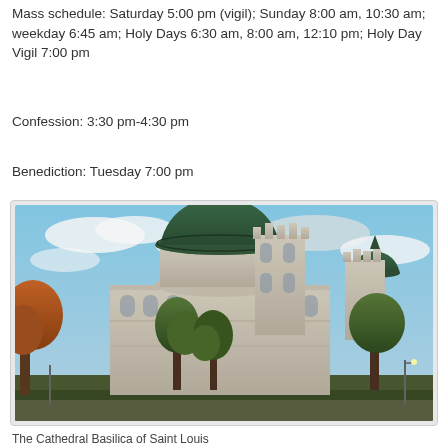Mass schedule: Saturday 5:00 pm (vigil); Sunday 8:00 am, 10:30 am; weekday 6:45 am; Holy Days 6:30 am, 8:00 am, 12:10 pm; Holy Day Vigil 7:00 pm
Confession: 3:30 pm-4:30 pm
Benediction: Tuesday 7:00 pm
[Figure (photo): Exterior photograph of a large stone cathedral with green copper domes and Gothic towers, surrounded by trees with autumn foliage under a partly cloudy sky.]
The Cathedral Basilica of Saint Louis (partial)